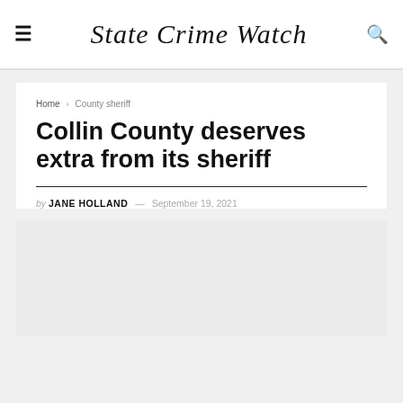State Crime Watch
Home > County sheriff
Collin County deserves extra from its sheriff
by JANE HOLLAND — September 19, 2021
[Figure (photo): Gray placeholder image area below the article byline]